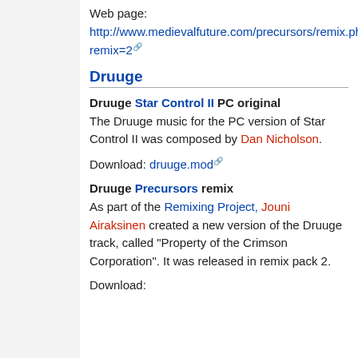Web page: http://www.medievalfuture.com/precursors/remix.php?remix=2
Druuge
Druuge Star Control II PC original
The Druuge music for the PC version of Star Control II was composed by Dan Nicholson.
Download: druuge.mod
Druuge Precursors remix
As part of the Remixing Project, Jouni Airaksinen created a new version of the Druuge track, called "Property of the Crimson Corporation". It was released in remix pack 2.
Download: